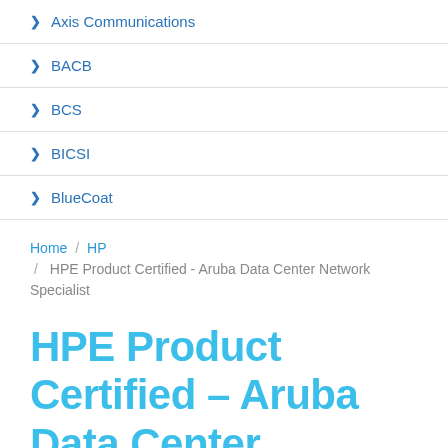Axis Communications
BACB
BCS
BICSI
BlueCoat
Home / HP / HPE Product Certified - Aruba Data Center Network Specialist
HPE Product Certified – Aruba Data Center Network Specialist Certification